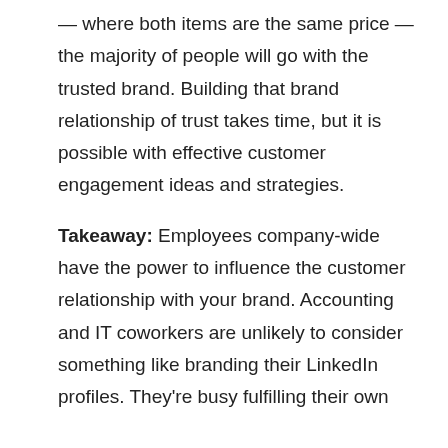— where both items are the same price — the majority of people will go with the trusted brand. Building that brand relationship of trust takes time, but it is possible with effective customer engagement ideas and strategies.
Takeaway: Employees company-wide have the power to influence the customer relationship with your brand. Accounting and IT coworkers are unlikely to consider something like branding their LinkedIn profiles. They're busy fulfilling their own